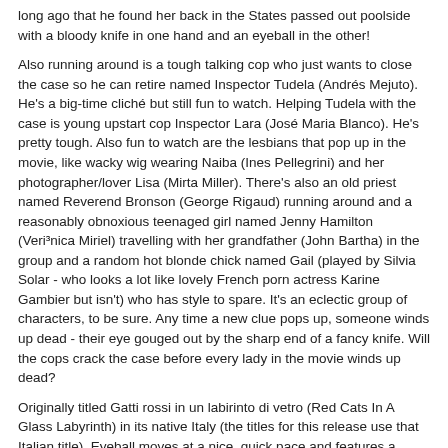long ago that he found her back in the States passed out poolside with a bloody knife in one hand and an eyeball in the other!
Also running around is a tough talking cop who just wants to close the case so he can retire named Inspector Tudela (Andrés Mejuto). He's a big-time cliché but still fun to watch. Helping Tudela with the case is young upstart cop Inspector Lara (José Maria Blanco). He's pretty tough. Also fun to watch are the lesbians that pop up in the movie, like wacky wig wearing Naiba (Ines Pellegrini) and her photographer/lover Lisa (Mirta Miller). There's also an old priest named Reverend Bronson (George Rigaud) running around and a reasonably obnoxious teenaged girl named Jenny Hamilton (Veri³nica Miriel) travelling with her grandfather (John Bartha) in the group and a random hot blonde chick named Gail (played by Silvia Solar - who looks a lot like lovely French porn actress Karine Gambier but isn't) who has style to spare. It's an eclectic group of characters, to be sure. Any time a new clue pops up, someone winds up dead - their eye gouged out by the sharp end of a fancy knife. Will the cops crack the case before every lady in the movie winds up dead?
Originally titled Gatti rossi in un labirinto di vetro (Red Cats In A Glass Labyrinth) in its native Italy (the titles for this release use that Italian title), Eyeball moves at a nice, quick pace and features a fantastic score from famed composer Bruno Nicolai. The movie also benefits from some great location work. Lenzi changes locations in this film often, so that even in those few moments where the pace does slow a bit, we get some nice eye candy. The murder set pieces are super stylish, highlighted by a scene in which our killer offs a victim inside a spook show haunted house ride, and the cinematography from Antonio Milli¡n (who is also credited with shooting Jess Franco's The Sinister Eyes Or Dr. Orloff) is quite strong.
As to the story? Well it's pretty off-kilter but that doesn't mean it isn't fun. The